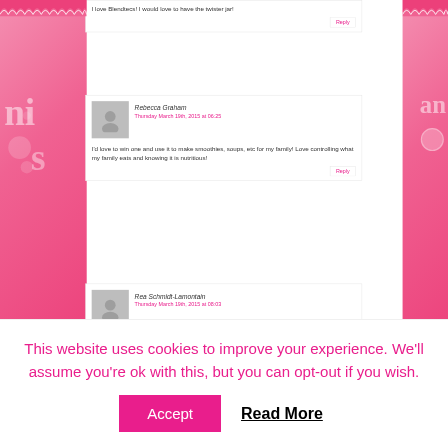I love Blendtecs! I would love to have the twister jar!
Reply
Rebecca Graham
Thursday March 19th, 2015 at 06:25
I'd love to win one and use it to make smoothies, soups, etc for my family! Love controlling what my family eats and knowing it is nutritious!
Reply
Rea Schmidt-Lamontain
Thursday March 19th, 2015 at 08:03
This website uses cookies to improve your experience. We'll assume you're ok with this, but you can opt-out if you wish.
Accept
Read More